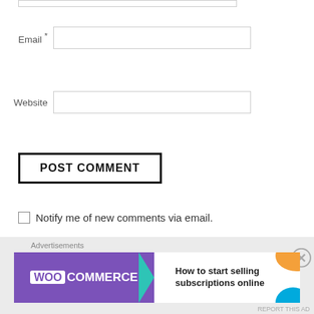Email *
Website
POST COMMENT
Notify me of new comments via email.
Notify me of new posts via email.
Advertisements
[Figure (other): WooCommerce advertisement banner: 'How to start selling subscriptions online']